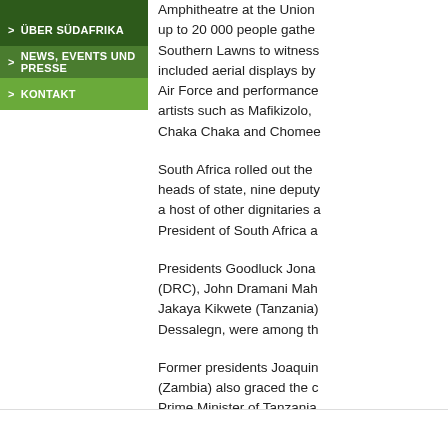ÜBER SÜDAFRIKA
NEWS, EVENTS UND PRESSE
KONTAKT
Amphitheatre at the Union... up to 20 000 people gather... Southern Lawns to witness... included aerial displays by... Air Force and performance... artists such as Mafikizolo, ... Chaka Chaka and Chomee...
South Africa rolled out the... heads of state, nine deputy... a host of other dignitaries a... President of South Africa a...
Presidents Goodluck Jona... (DRC), John Dramani Mah... Jakaya Kikwete (Tanzania)... Dessalegn, were among th...
Former presidents Joaquin... (Zambia) also graced the c... Prime Minister of Tanzania... forrunner the Organisati...